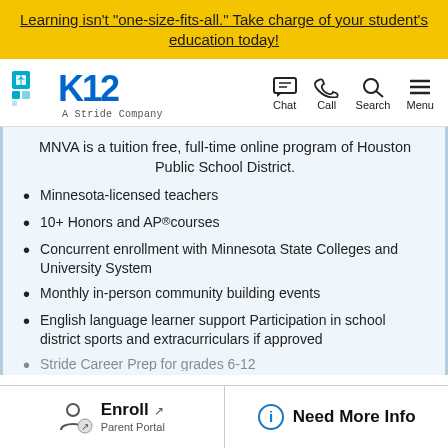Learning isn't "one-size-fits-all." Take charge of your student's education today!
[Figure (logo): K12 A Stride Company logo with navigation icons: Chat, Call, Search, Menu]
MNVA is a tuition free, full-time online program of Houston Public School District.
Minnesota-licensed teachers
10+ Honors and AP® courses
Concurrent enrollment with Minnesota State Colleges and University System
Monthly in-person community building events
English language learner support Participation in school district sports and extracurriculars if approved
Stride Career Prep for grades 6-12
Enroll Parent Portal | Need More Info